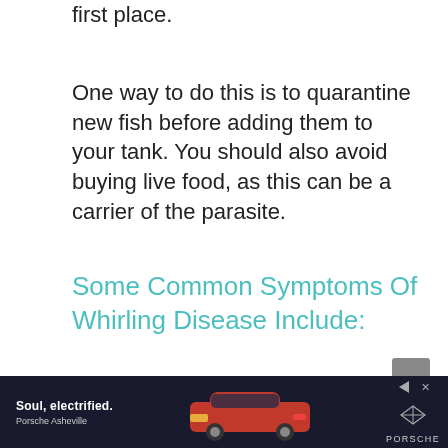first place.
One way to do this is to quarantine new fish before adding them to your tank. You should also avoid buying live food, as this can be a carrier of the parasite.
Some Common Symptoms Of Whirling Disease Include:
fish swimming in circles
[Figure (other): Advertisement banner for Porsche Asheville with tagline 'Soul, electrified.' showing a red Porsche car against a dark background, with Porsche logo and ad controls on the right.]